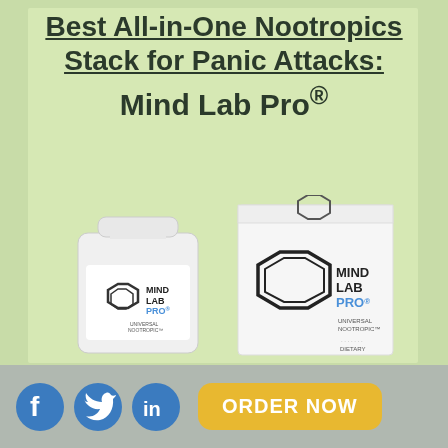Best All-in-One Nootropics Stack for Panic Attacks: Mind Lab Pro®
[Figure (photo): Product photo of Mind Lab Pro supplement bottle and box on light green background]
[Figure (infographic): Footer bar with Facebook, Twitter, LinkedIn social icons and orange ORDER NOW button]